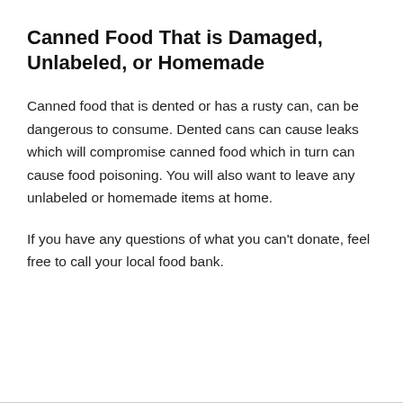Canned Food That is Damaged, Unlabeled, or Homemade
Canned food that is dented or has a rusty can, can be dangerous to consume. Dented cans can cause leaks which will compromise canned food which in turn can cause food poisoning. You will also want to leave any unlabeled or homemade items at home.
If you have any questions of what you can't donate, feel free to call your local food bank.